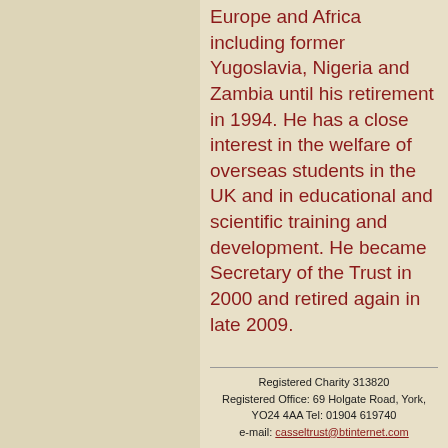Europe and Africa including former Yugoslavia, Nigeria and Zambia until his retirement in 1994. He has a close interest in the welfare of overseas students in the UK and in educational and scientific training and development. He became Secretary of the Trust in 2000 and retired again in late 2009.
Registered Charity 313820 Registered Office: 69 Holgate Road, York, YO24 4AA Tel: 01904 619740 e-mail: casseltrust@btinternet.com